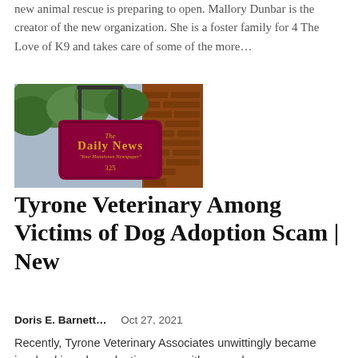new animal rescue is preparing to open. Mallory Dunbar is the creator of the new organization. She is a foster family for 4 The Love of K9 and takes care of some of the more...
[Figure (photo): Outdoor sign for The Daily News newspaper, reading 'The Daily News - Your Hometown Newspaper - 325', mounted on a brick building with trees in the background.]
Tyrone Veterinary Among Victims of Dog Adoption Scam | New
Doris E. Barnett...   Oct 27, 2021
Recently, Tyrone Veterinary Associates unwittingly became involved in a dog adoption scam with several...